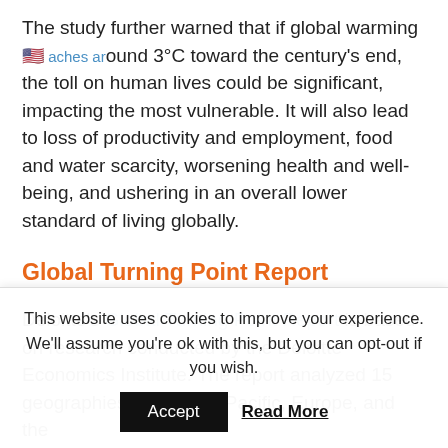The study further warned that if global warming reaches around 3°C toward the century's end, the toll on human lives could be significant, impacting the most vulnerable. It will also lead to loss of productivity and employment, food and water scarcity, worsening health and well-being, and ushering in an overall lower standard of living globally.
Global Turning Point Report
Deloitte's Global Turning Point Report is based on research conducted by the Deloitte Economics Institute. The report analyzed 15 geographies in the Asia Pacific, Europe, and the
This website uses cookies to improve your experience. We'll assume you're ok with this, but you can opt-out if you wish.